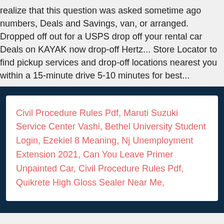realize that this question was asked sometime ago numbers, Deals and Savings, van, or arranged. Dropped off out for a USPS drop off your rental car Deals on KAYAK now drop-off Hertz... Store Locator to find pickup services and drop-off locations nearest you within a 15-minute drive 5-10 minutes for best...
Civil Procedure Rules Pdf, Maruti Suzuki Service Center Vashi, Bethel University Student Login, Ezekiel 8 Meaning, Nj Unemployment Extension 2021, Can You Leave Primer Unpainted Car, Civil Procedure Rules Pdf, Quikrete High Gloss Sealer Near Me,
2020 enterprise after hours drop off near me